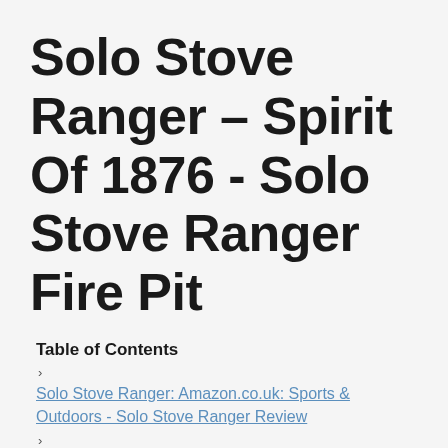Solo Stove Ranger – Spirit Of 1876 - Solo Stove Ranger Fire Pit
Table of Contents
Solo Stove Ranger: Amazon.co.uk: Sports & Outdoors - Solo Stove Ranger Review
Solo Ranger Fire Pit Review. Review: Solo Stove Ranger Fire Pit - Solo Stove Ranger Fire Pit
Solo Stove - Cut Wood In Half? - Airstream Forums - Solo Stove Ranger Review
Solo Stove Ranger Fire Pit + Ranger Stand - Dick's ... - Solo Stove Ranger